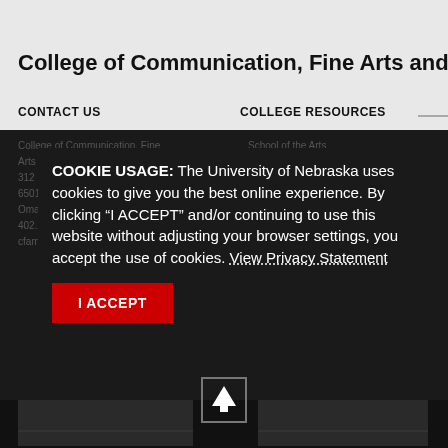College of Communication, Fine Arts and Media
CONTACT US
COLLEGE RESOURCES
College of Communication, Fine Arts and Media
Arts and Sciences Hall
312 ...
6501 ...
Omaha, Nebraska ...
402...
cfam@unomaha.edu
School of the Arts
... of Communication
...
...
UNO Theatre
KVNO
COOKIE USAGE: The University of Nebraska uses cookies to give you the best online experience. By clicking "I ACCEPT" and/or continuing to use this website without adjusting your browser settings, you accept the use of cookies. View Privacy Statement
I ACCEPT